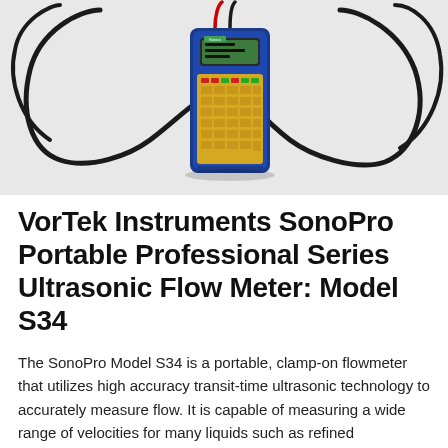[Figure (photo): Photo of VorTek Instruments SonoPro Model S34 portable ultrasonic flow meter — a blue handheld device with yellow keypad and green LCD display, with two black sensor cables coiled on either side, on a white/light grey background.]
VorTek Instruments SonoPro Portable Professional Series Ultrasonic Flow Meter: Model S34
The SonoPro Model S34 is a portable, clamp-on flowmeter that utilizes high accuracy transit-time ultrasonic technology to accurately measure flow. It is capable of measuring a wide range of velocities for many liquids such as refined hydrocarbons, petroleum products, crude hydraulic fluids, diesel and oil fuels, water, wastewater, hot